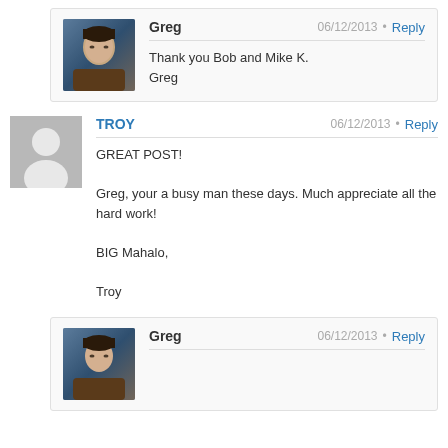Greg  06/12/2013 · Reply
Thank you Bob and Mike K.
Greg
TROY  06/12/2013 · Reply
GREAT POST!
Greg, your a busy man these days. Much appreciate all the hard work!
BIG Mahalo,
Troy
Greg  06/12/2013 · Reply